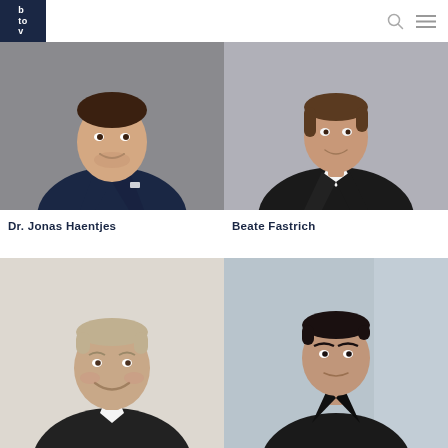btov
[Figure (photo): Headshot of Dr. Jonas Haentjes, a man in a dark suit with light blue shirt, smiling, concrete background]
[Figure (photo): Headshot of Beate Fastrich, a woman in a black leather jacket with white top, smiling, gray background]
Dr. Jonas Haentjes
Beate Fastrich
[Figure (photo): Headshot of an older man with grey-blonde hair, smiling broadly, in a dark jacket]
[Figure (photo): Headshot of a young man with dark hair in a dark jacket, slight smile, blurred background]